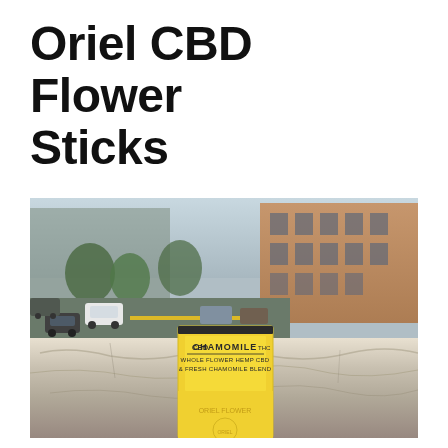Oriel CBD Flower Sticks
[Figure (photo): Outdoor urban rooftop scene. A yellow packaged product labeled 'CHAMOMILE' with text 'WHOLE FLOWER HEMP CBD & FRESH CHAMOMILE BLEND' is placed on a stone ledge. In the background, a city street scene with cars, trees, and brick buildings is visible from an elevated vantage point.]